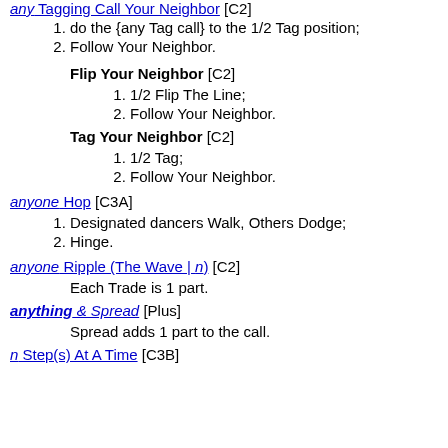any Tagging Call Your Neighbor [C2]
do the {any Tag call} to the 1/2 Tag position;
Follow Your Neighbor.
Flip Your Neighbor [C2]
1/2 Flip The Line;
Follow Your Neighbor.
Tag Your Neighbor [C2]
1/2 Tag;
Follow Your Neighbor.
anyone Hop [C3A]
Designated dancers Walk, Others Dodge;
Hinge.
anyone Ripple (The Wave | n) [C2]
Each Trade is 1 part.
anything & Spread [Plus]
Spread adds 1 part to the call.
n Step(s) At A Time [C3B]